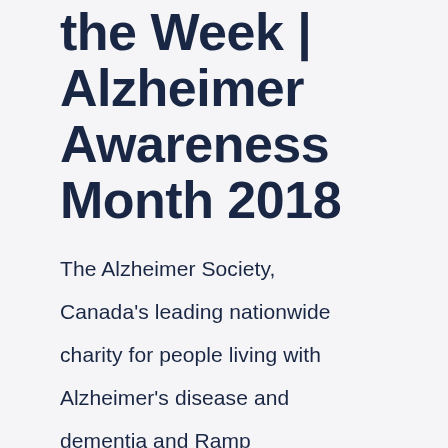the Week | Alzheimer Awareness Month 2018
The Alzheimer Society, Canada's leading nationwide charity for people living with Alzheimer's disease and dementia and Ramp Communications, a marketing and communications agency dedicated to sharing positive stories, created an impactful